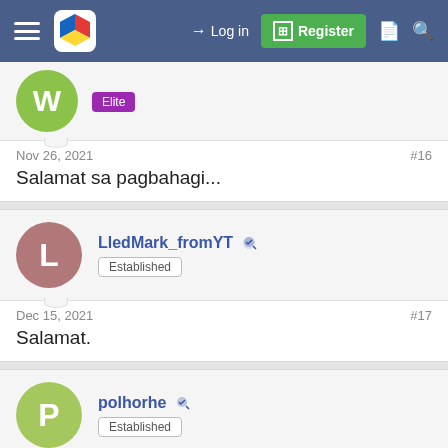Log in | Register
W | Elite
Nov 26, 2021 #16
Salamat sa pagbahagi...
LledMark_fromYT Established
Dec 15, 2021 #17
Salamat.
polhorhe Established
Dec 15, 2021 #18
salamat idol